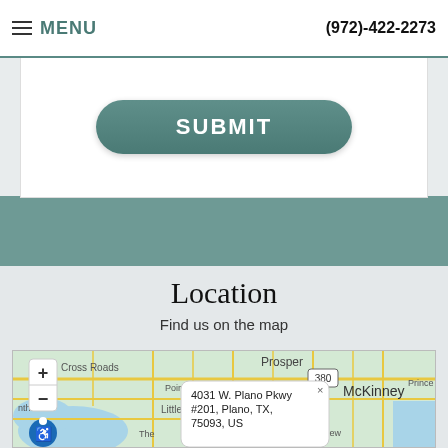MENU  (972)-422-2273
Please do not submit any Protected Health Info
SUBMIT
Location
Find us on the map
[Figure (map): Interactive map showing area around Plano, TX including McKinney, Prosper, Little Elm, Cross Roads. Zoom in/out controls shown. Map popup displays address: 4031 W. Plano Pkwy #201, Plano, TX, 75093, US]
4031 W. Plano Pkwy #201, Plano, TX, 75093, US